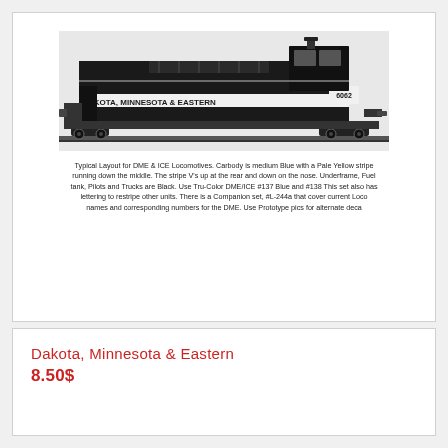[Figure (illustration): Black and white illustration of a Dakota, Minnesota & Eastern locomotive (number 6062). The carbody is shown in dark color with 'DAKOTA, MINNESOTA & EASTERN' lettering on the side and the number 6062 on the cab.]
Typical Layout for DME & ICE Locomotives. Carbody is medium Blue with a Pale Yellow stripe running down the middle. The stripe V's up at the rear and down on the nose. Underframe, Fuel tank, Pilots and Trucks are Black. Use Tru-Color DME/ICE #137 Blue and #138 This set also has lettering to restripe other units. There is a Companion set, #L-244a that cover current Loco names and corresponding numbers for the DME. Use Prototype pics for alternate deca
Dakota, Minnesota & Eastern
8.50$